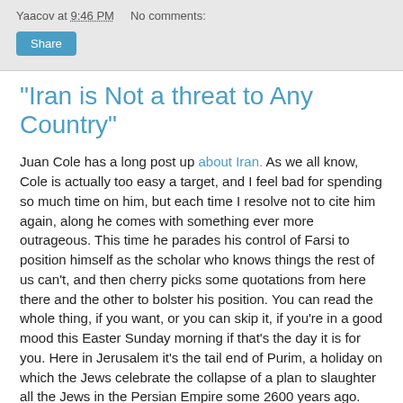Yaacov at 9:46 PM   No comments:
"Iran is Not a threat to Any Country"
Juan Cole has a long post up about Iran. As we all know, Cole is actually too easy a target, and I feel bad for spending so much time on him, but each time I resolve not to cite him again, along he comes with something ever more outrageous. This time he parades his control of Farsi to position himself as the scholar who knows things the rest of us can't, and then cherry picks some quotations from here there and the other to bolster his position. You can read the whole thing, if you want, or you can skip it, if you're in a good mood this Easter Sunday morning if that's the day it is for you. Here in Jerusalem it's the tail end of Purim, a holiday on which the Jews celebrate the collapse of a plan to slaughter all the Jews in the Persian Empire some 2600 years ago.
Mostly I'm linking to his article so as to preserve it as a